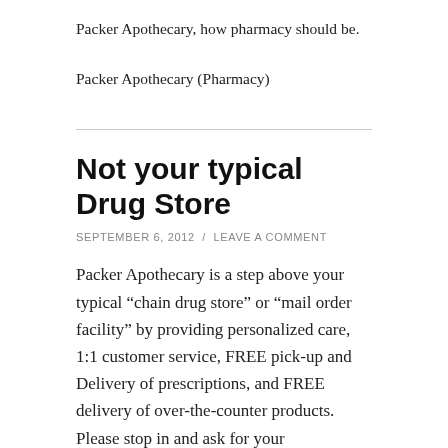Packer Apothecary, how pharmacy should be.
Packer Apothecary (Pharmacy)
Not your typical Drug Store
SEPTEMBER 6, 2012 / LEAVE A COMMENT
Packer Apothecary is a step above your typical “chain drug store” or “mail order facility” by providing personalized care, 1:1 customer service, FREE pick-up and Delivery of prescriptions, and FREE delivery of over-the-counter products. Please stop in and ask for your neighborhood pharmacist, Christopher Pauzano, to see how he can assist with your pharmacy needs.